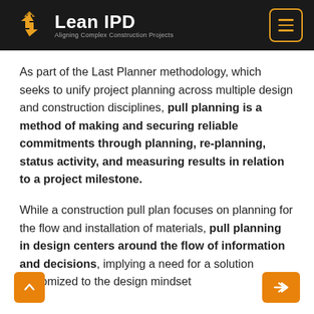[Figure (logo): Lean IPD logo with golden interlocking triangles icon and text 'Lean IPD — Aligning Complex Construction Projects' on dark background, with hamburger menu icon]
As part of the Last Planner methodology, which seeks to unify project planning across multiple design and construction disciplines, pull planning is a method of making and securing reliable commitments through planning, re-planning, status activity, and measuring results in relation to a project milestone.
While a construction pull plan focuses on planning for the flow and installation of materials, pull planning in design centers around the flow of information and decisions, implying a need for a solution customized to the design mindset